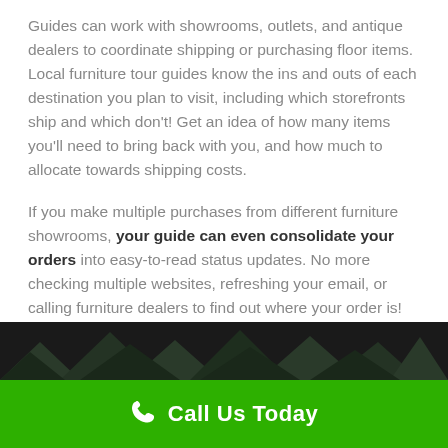Guides can work with showrooms, outlets, and antique dealers to coordinate shipping or purchasing floor items. Local furniture tour guides know the ins and outs of each destination you plan to visit, including which storefronts ship and which don't! Get an idea of how many items you'll need to bring back with you, and how much to allocate towards shipping costs.
If you make multiple purchases from different furniture showrooms, your guide can even consolidate your orders into easy-to-read status updates. No more checking multiple websites, refreshing your email, or calling furniture dealers to find out where your order is!
[Figure (photo): Dark image strip showing rooflines or building silhouettes against a dark background]
Call Us Today